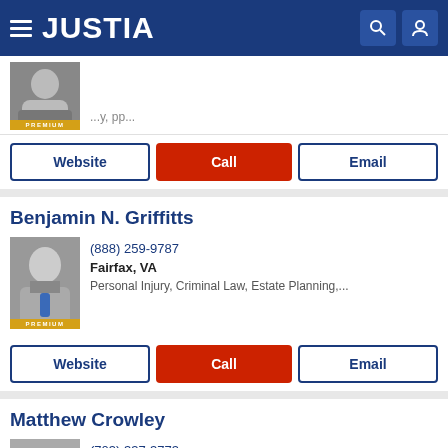JUSTIA
[Figure (photo): Partial lawyer photo with PREMIUM badge]
Website  Call  Email (action buttons)
Benjamin N. Griffitts
[Figure (photo): Photo of Benjamin N. Griffitts with PREMIUM badge]
(888) 259-9787
Fairfax, VA
Personal Injury, Criminal Law, Estate Planning,...
Website  Call  Email (action buttons)
Matthew Crowley
[Figure (photo): Photo of Matthew Crowley]
(703) 337-3773
Fairfax, VA